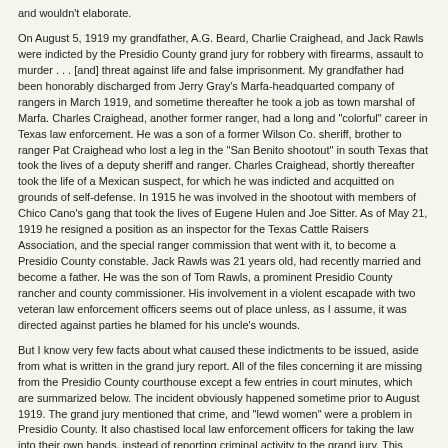and wouldn't elaborate.
On August 5, 1919 my grandfather, A.G. Beard, Charlie Craighead, and Jack Rawls were indicted by the Presidio County grand jury for robbery with firearms, assault to murder . . . [and] threat against life and false imprisonment. My grandfather had been honorably discharged from Jerry Gray's Marfa-headquarted company of rangers in March 1919, and sometime thereafter he took a job as town marshal of Marfa. Charles Craighead, another former ranger, had a long and "colorful" career in Texas law enforcement. He was a son of a former Wilson Co. sheriff, brother to ranger Pat Craighead who lost a leg in the "San Benito shootout" in south Texas that took the lives of a deputy sheriff and ranger. Charles Craighead, shortly thereafter took the life of a Mexican suspect, for which he was indicted and acquitted on grounds of self-defense. In 1915 he was involved in the shootout with members of Chico Cano's gang that took the lives of Eugene Hulen and Joe Sitter. As of May 21, 1919 he resigned a position as an inspector for the Texas Cattle Raisers Association, and the special ranger commission that went with it, to become a Presidio County constable. Jack Rawls was 21 years old, had recently married and become a father. He was the son of Tom Rawls, a prominent Presidio County rancher and county commissioner. His involvement in a violent escapade with two veteran law enforcement officers seems out of place unless, as I assume, it was directed against parties he blamed for his uncle's wounds.
But I know very few facts about what caused these indictments to be issued, aside from what is written in the grand jury report. All of the files concerning it are missing from the Presidio County courthouse except a few entries in court minutes, which are summarized below. The incident obviously happened sometime prior to August 1919. The grand jury mentioned that crime, and "lewd women" were a problem in Presidio County. It also chastised local law enforcement officers for taking the law into their own hands, instead of reporting criminal activity to the grand jury. This remark suggests that the victims of the violence were not entirely upstanding citizens.
Beard family folklore suggests that A. G. Beard got in trouble for using too much force in shutting down a local business that my 100-year-old cousin has variously described as a "gyp joint" or a house of ill repute. The owners were influential and caused him to lose his job as marshal (the indictment is not mentioned). Could these assaults relate to the Anaya cafe?